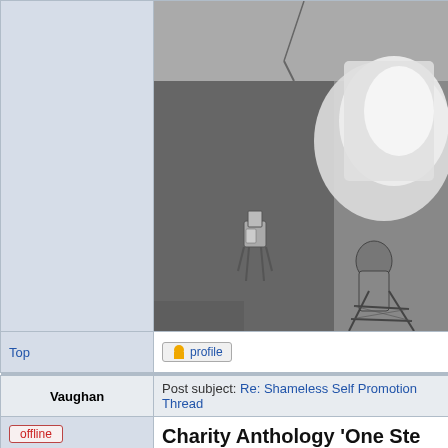[Figure (photo): Black and white photograph showing two toy/figurine characters. On the left is a shorter robot-like figure with a box-shaped head, and on the right is a taller humanoid figure on a ladder-like structure. There is a bright light source (possibly a projector or screen) in the background.]
Top
profile
Vaughan
Post subject: Re: Shameless Self Promotion Thread
offline
Joined: Sun Mar 04, 2007 1:12 pm
Posts: 74
Charity Anthology 'One Ste
Kindle edition:
UK (£0.99): https://www.amazon.co.uk/One-